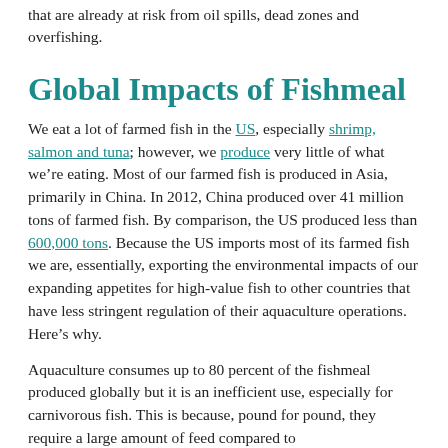that are already at risk from oil spills, dead zones and overfishing.
Global Impacts of Fishmeal
We eat a lot of farmed fish in the US, especially shrimp, salmon and tuna; however, we produce very little of what we’re eating. Most of our farmed fish is produced in Asia, primarily in China. In 2012, China produced over 41 million tons of farmed fish. By comparison, the US produced less than 600,000 tons. Because the US imports most of its farmed fish we are, essentially, exporting the environmental impacts of our expanding appetites for high-value fish to other countries that have less stringent regulation of their aquaculture operations. Here’s why.
Aquaculture consumes up to 80 percent of the fishmeal produced globally but it is an inefficient use, especially for carnivorous fish. This is because, pound for pound, they require a large amount of feed compared to